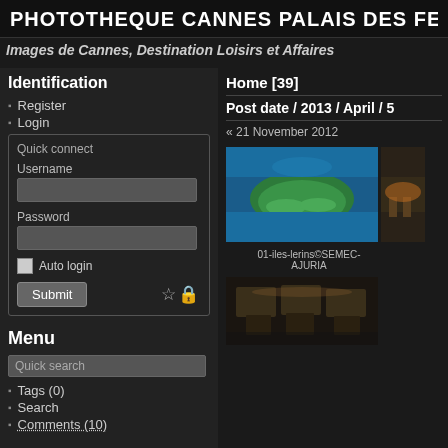PHOTOTHEQUE CANNES PALAIS DES FE
Images de Cannes, Destination Loisirs et Affaires
Identification
Register
Login
Quick connect
Username
Password
Auto login
Submit
Menu
Quick search
Tags (0)
Search
Comments (10)
Home [39]
Post date / 2013 / April / 5
« 21 November 2012
[Figure (photo): Aerial view of Iles de Lerins island in blue sea]
01-iles-lerins©SEMEC-AJURIA
[Figure (photo): Stone architectural interior photo, bottom right corner]